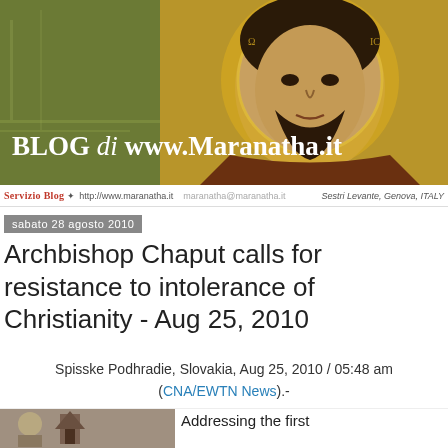[Figure (illustration): Blog header banner with a Byzantine-style Christ icon painting on the right, olive/green background on the left, with text 'BLOG di www.Maranatha.it' overlaid at the bottom left.]
SERVIZIO BLOG ✦ http://www.maranatha.it   maranatha@maranatha.it   Sestri Levante, Genova, ITALY
sabato 28 agosto 2010
Archbishop Chaput calls for resistance to intolerance of Christianity - Aug 25, 2010
Spisske Podhradie, Slovakia, Aug 25, 2010 / 05:48 am (CNA/EWTN News).-
Addressing the first
[Figure (photo): Photo of Archbishop Chaput or related religious figure at a church or cathedral setting.]